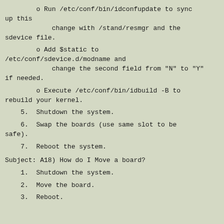o Run /etc/conf/bin/idconfupdate to sync up this
            change with /stand/resmgr and the sdevice file.
o Add $static to /etc/conf/sdevice.d/modname and
            change the second field from "N" to "Y" if needed.
o Execute /etc/conf/bin/idbuild -B to rebuild your kernel.
5.  Shutdown the system.
6.  Swap the boards (use same slot to be safe).
7.  Reboot the system.
Subject: A18) How do I Move a board?
1.  Shutdown the system.
2.  Move the board.
3.  Reboot.